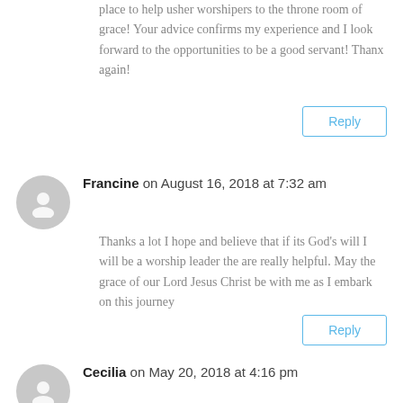place to help usher worshipers to the throne room of grace! Your advice confirms my experience and I look forward to the opportunities to be a good servant! Thanx again!
Reply
Francine on August 16, 2018 at 7:32 am
Thanks a lot I hope and believe that if its God’s will I will be a worship leader the are really helpful. May the grace of our Lord Jesus Christ be with me as I embark on this journey
Reply
Cecilia on May 20, 2018 at 4:16 pm